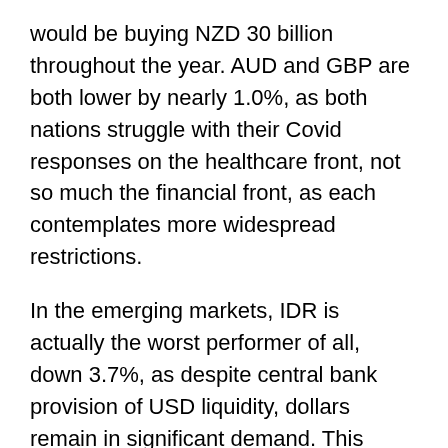would be buying NZD 30 billion throughout the year. AUD and GBP are both lower by nearly 1.0%, as both nations struggle with their Covid responses on the healthcare front, not so much the financial front, as each contemplates more widespread restrictions.
In the emerging markets, IDR is actually the worst performer of all, down 3.7%, as despite central bank provision of USD liquidity, dollars remain in significant demand. This implies there may be a lack of adequate collateral to use to borrow dollars and could presage a much harsher decline in the future. But MXN and KRW are both lower by 1.5%, and remember, South Korea has been held up as a shining example of how to combat the disease. Their problem stems from the fact that as an export driven economy, the fact that the rest of the world is